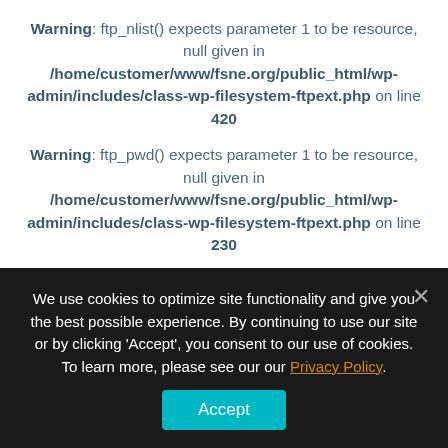Warning: ftp_nlist() expects parameter 1 to be resource, null given in /home/customer/www/fsne.org/public_html/wp-admin/includes/class-wp-filesystem-ftpext.php on line 420
Warning: ftp_pwd() expects parameter 1 to be resource, null given in /home/customer/www/fsne.org/public_html/wp-admin/includes/class-wp-filesystem-ftpext.php on line 230
Warning: ftp_pwd() expects parameter 1 to be resource, null given in /home/customer/www/fsne.org/public_html/wp-admin/includes/class-wp-filesystem-ftpext.php on line 230
Warning: ftp_nlist() expects parameter 1 to be resource, null given in /home/customer/www/fsne.org/public_html/wp-...
We use cookies to optimize site functionality and give you the best possible experience. By continuing to use our site or by clicking 'Accept', you consent to our use of cookies. To learn more, please see our our Privacy Policy.